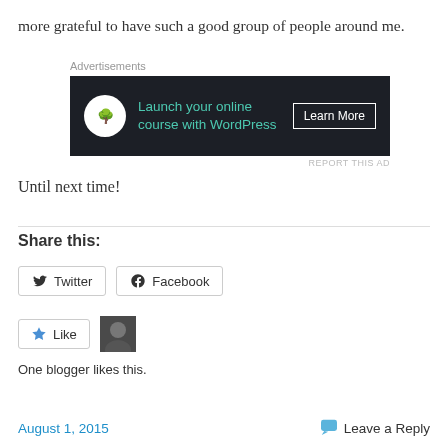more grateful to have such a good group of people around me.
[Figure (other): Advertisement banner: 'Launch your online course with WordPress – Learn More']
Until next time!
Share this:
Twitter  Facebook
Like  [avatar]
One blogger likes this.
August 1, 2015    Leave a Reply